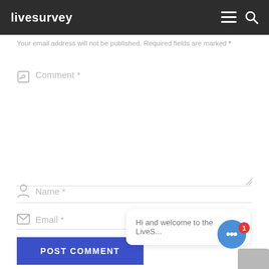livesurvey
Your email address will not be published. Required fields are marked *
Comment *
Name *
Email *
POST COMMENT
Hi and welcome to the LiveS...